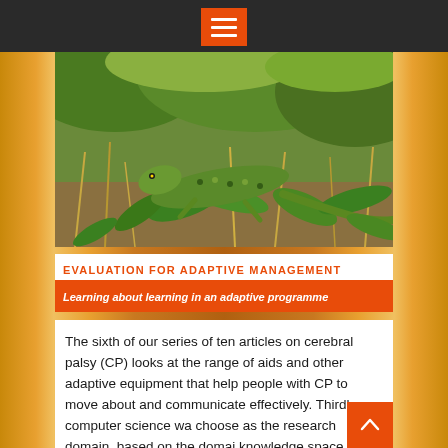[Figure (photo): Close-up photograph of a green lizard among grass and foliage]
EVALUATION FOR ADAPTIVE MANAGEMENT
Learning about learning in an adaptive programme
The sixth of our series of ten articles on cerebral palsy (CP) looks at the range of aids and other adaptive equipment that help people with CP to move about and communicate effectively. Thirdly, computer science was choose as the research domain, based on the domain knowledge space model, the knowledge taxonomy architecture and concept sets were constructed, and